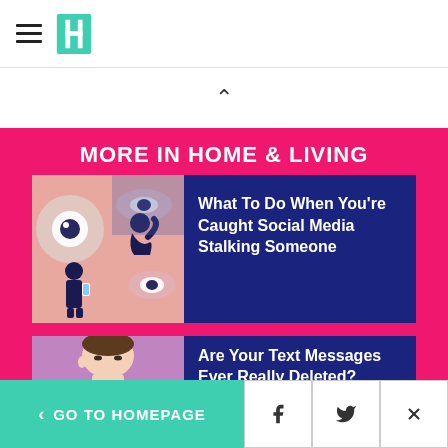HuffPost header with hamburger menu and logo
MORE IN HOME & LIVING
[Figure (illustration): Illustration of person with smartphone surrounded by large eyes representing social media surveillance, pink and blue tones with dark silhouettes]
What To Do When You're Caught Social Media Stalking Someone
[Figure (photo): Partial photo of a man's face against purple/pink background]
Are Your Text Messages Ever Really Deleted?
< GO TO HOMEPAGE | Facebook icon | Twitter icon | Close (X)